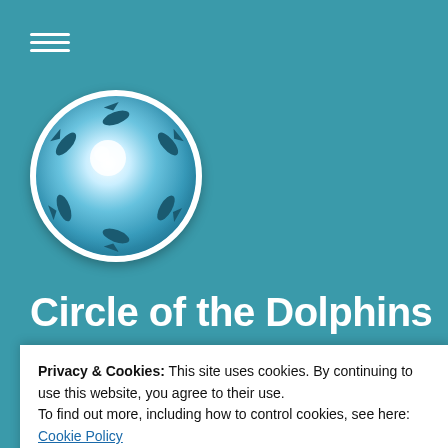[Figure (logo): Circle of the Dolphins website logo: a circular sphere with dolphins swimming in a circle around a bright white glowing center, blue ocean tones]
Circle of the Dolphins
Privacy & Cookies: This site uses cookies. By continuing to use this website, you agree to their use.
To find out more, including how to control cookies, see here: Cookie Policy
Close and accept
The Great Transit